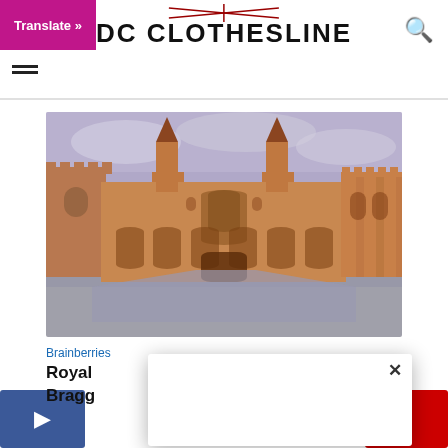DC CLOTHESLINE
[Figure (photo): Photograph of a large medieval castle/palace with warm sandstone-colored walls, Gothic arched windows, towers with pointed spires, and large arched entryways at ground level. Overcast sky in background.]
Brainberries
Royal ... Most Bragg...